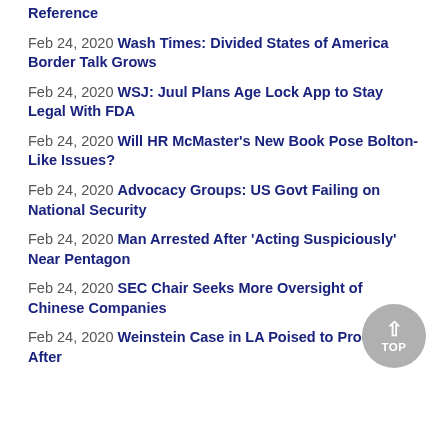Reference
Feb 24, 2020 Wash Times: Divided States of America Border Talk Grows
Feb 24, 2020 WSJ: Juul Plans Age Lock App to Stay Legal With FDA
Feb 24, 2020 Will HR McMaster's New Book Pose Bolton-Like Issues?
Feb 24, 2020 Advocacy Groups: US Govt Failing on National Security
Feb 24, 2020 Man Arrested After 'Acting Suspiciously' Near Pentagon
Feb 24, 2020 SEC Chair Seeks More Oversight of Chinese Companies
Feb 24, 2020 Weinstein Case in LA Poised to Proceed After